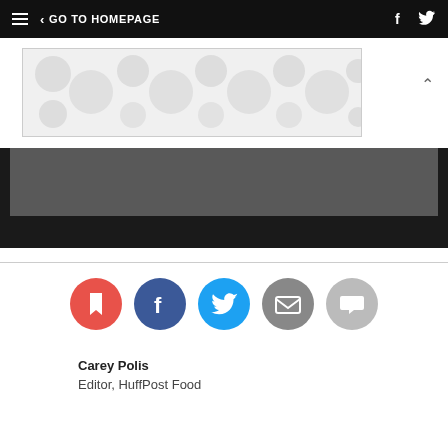GO TO HOMEPAGE
[Figure (screenshot): Decorative ad banner with polka-dot/blob grey pattern on white background]
[Figure (screenshot): Dark grey/black media player or video embed area]
[Figure (infographic): Social sharing buttons row: bookmark (red), Facebook (dark blue), Twitter (light blue), email (grey), comments (light grey)]
Carey Polis
Editor, HuffPost Food